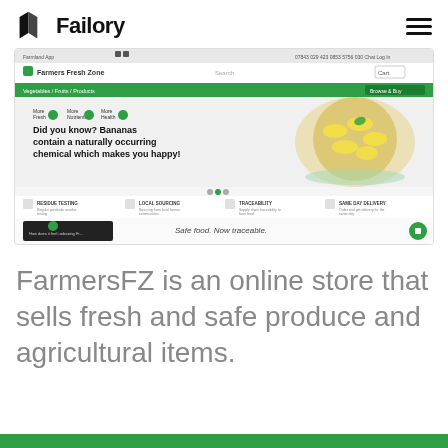Failory
[Figure (screenshot): Screenshot of FarmersFZ website showing a green-themed e-commerce interface with 'Farmers Fresh Zone' branding, navigation bar, a banner reading 'Did you know? Bananas contain a naturally occurring chemical which makes you happy!' with a bowl of bananas image, feature icons for residue testing, local sourcing, traceability, same day delivery, and a video section with 'Safe food. Now traceable.' text.]
FarmersFZ is an online store that sells fresh and safe produce and agricultural items.